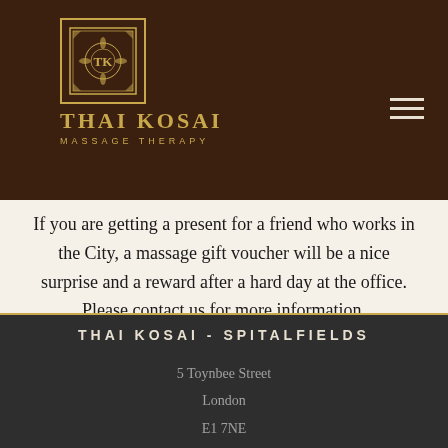[Figure (logo): Thai Kosai Massage Therapy logo — ornate gold square emblem with TK initials and decorative pattern, with brand name THAI KOSAI and tagline MASSAGE THERAPY below in gold on dark brown background]
professional therapists deliver each of you a tailored massage treatment for a truly unique experience. You can plan a whole night around your massage and dine out at one of the excellent Thai restaurants in the area.
If you are getting a present for a friend who works in the City, a massage gift voucher will be a nice surprise and a reward after a hard day at the office. Please contact us for more information.
THAI KOSAI - SPITALFIELDS
5 Toynbee Street
London
E1 7NE